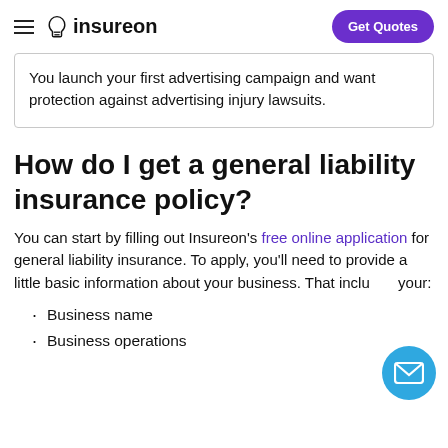Insureon — Get Quotes
You launch your first advertising campaign and want protection against advertising injury lawsuits.
How do I get a general liability insurance policy?
You can start by filling out Insureon's free online application for general liability insurance. To apply, you'll need to provide a little basic information about your business. That includes your:
Business name
Business operations